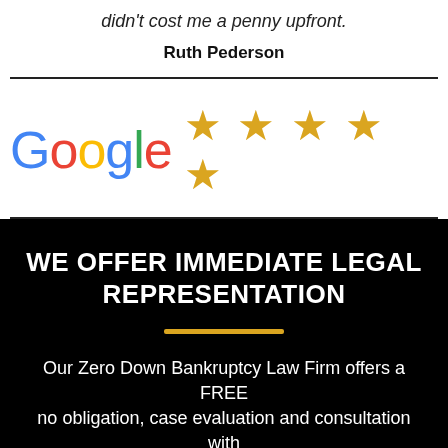didn't cost me a penny upfront.
Ruth Pederson
[Figure (logo): Google logo in multicolor (blue G, red o, yellow o, blue g, green l, red e) followed by five gold stars representing a 5-star rating]
WE OFFER IMMEDIATE LEGAL REPRESENTATION
Our Zero Down Bankruptcy Law Firm offers a FREE no obligation, case evaluation and consultation with